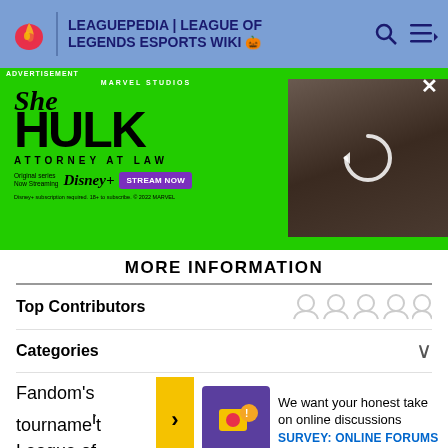LEAGUEPEDIA | LEAGUE OF LEGENDS ESPORTS WIKI
[Figure (screenshot): She-Hulk Attorney at Law advertisement banner on green background with Disney+ Stream Now button and actress image on right side]
MORE INFORMATION
Top Contributors
Categories
Fandom's tournament League of
We want your honest take on online discussions
SURVEY: ONLINE FORUMS